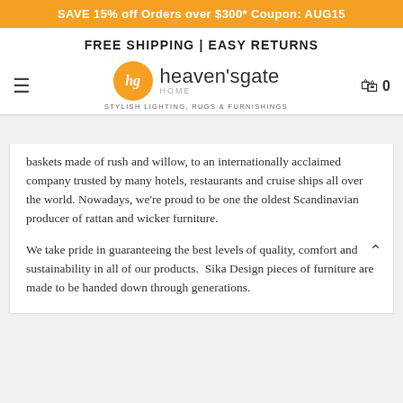SAVE 15% off Orders over $300* Coupon: AUG15
FREE SHIPPING | EASY RETURNS
[Figure (logo): Heaven's Gate Home logo with orange circle 'hg', text 'heaven's gate HOME', tagline 'STYLISH LIGHTING, RUGS & FURNISHINGS']
baskets made of rush and willow, to an internationally acclaimed company trusted by many hotels, restaurants and cruise ships all over the world. Nowadays, we're proud to be one the oldest Scandinavian producer of rattan and wicker furniture.
We take pride in guaranteeing the best levels of quality, comfort and sustainability in all of our products.  Sika Design pieces of furniture are made to be handed down through generations.